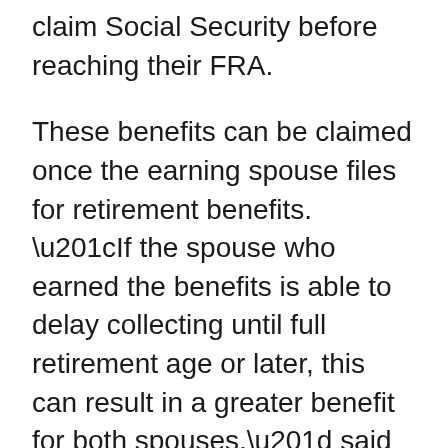claim Social Security before reaching their FRA.
These benefits can be claimed once the earning spouse files for retirement benefits. “If the spouse who earned the benefits is able to delay collecting until full retirement age or later, this can result in a greater benefit for both spouses,” said Stern. Social Security retirement can be claimed as early as age 62; however, the Social Security benefits will be reduced. Using the SSA’s Benefits for Spouses calculator can provide a rough estimate of qualifying